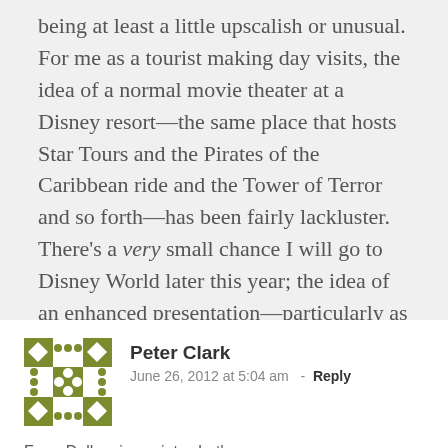being at least a little upscalish or unusual. For me as a tourist making day visits, the idea of a normal movie theater at a Disney resort—the same place that hosts Star Tours and the Pirates of the Caribbean ride and the Tower of Terror and so forth—has been fairly lackluster. There's a very small chance I will go to Disney World later this year; the idea of an enhanced presentation—particularly as a break from a week of theme-park shenanigans—is a little more interesting, and so I might be willing to check out Atmos, depending on what's playing at the time.
Peter Clark
June 26, 2012 at 5:04 am  -  Reply
From Dolby viewpoint, what's